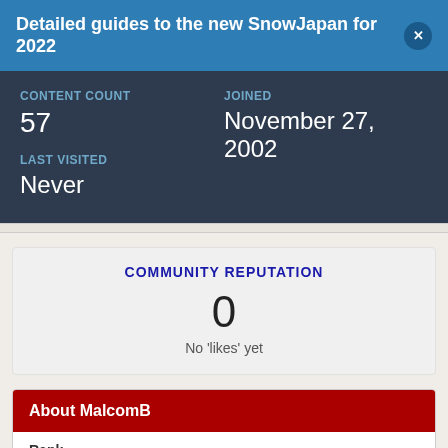Detailed guides to the new SnowJapan for 2022
CONTENT COUNT
57
JOINED
November 27, 2002
LAST VISITED
Never
COMMUNITY REPUTATION
0
No 'likes' yet
About MalcomB
Rank